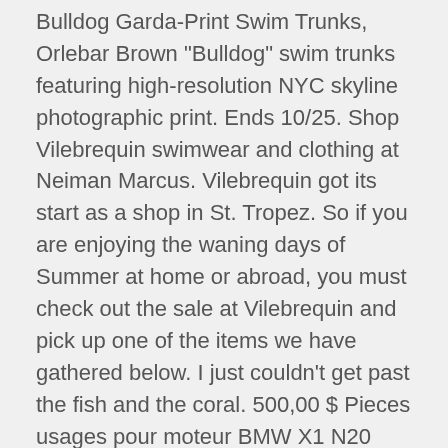Bulldog Garda-Print Swim Trunks, Orlebar Brown "Bulldog" swim trunks featuring high-resolution NYC skyline photographic print. Ends 10/25. Shop Vilebrequin swimwear and clothing at Neiman Marcus. Vilebrequin got its start as a shop in St. Tropez. So if you are enjoying the waning days of Summer at home or abroad, you must check out the sale at Vilebrequin and pick up one of the items we have gathered below. I just couldn't get past the fish and the coral. 500,00 $ Pieces usages pour moteur BMW X1 N20 2.0L Laval/Rive Nord 30-août-20. Shop The Vilebrequin Outlet For Up To 70% Off This Week, Click to share on Facebook (Opens in new window), Click to share on Twitter (Opens in new window), Click to share on LinkedIn (Opens in new window), Click to share on Reddit (Opens in new window), Click to share on Pinterest (Opens in new window), We Want Everything From the New Todd Snyder and L.L.Bean Collab, These Leather Items From Bullstrap Will Make For A Great